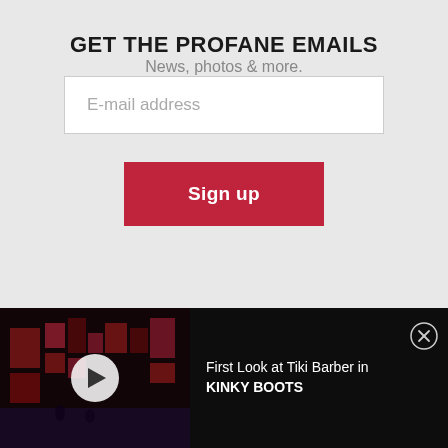GET THE PROFANE EMAILS
News, photos & more.
E-mail address
Sign up
[Figure (screenshot): Video thumbnail showing a dark stage with red geometric set pieces from Kinky Boots, with a white play button circle overlay]
First Look at Tiki Barber in KINKY BOOTS